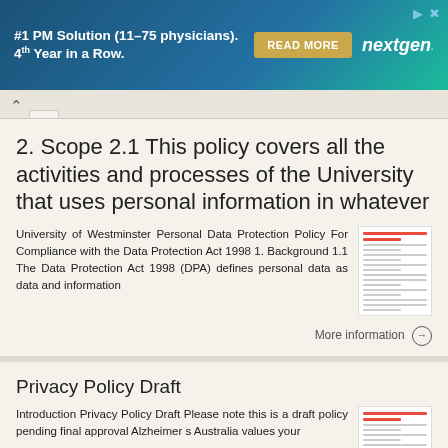[Figure (screenshot): Advertisement banner for NextGen #1 PM Solution (11-75 physicians), 4th Year in a Row, with Read More button and NextGen logo]
2. Scope 2.1 This policy covers all the activities and processes of the University that uses personal information in whatever
University of Westminster Personal Data Protection Policy For Compliance with the Data Protection Act 1998 1. Background 1.1 The Data Protection Act 1998 (DPA) defines personal data as data and information
More information →
Privacy Policy Draft
Introduction Privacy Policy Draft Please note this is a draft policy pending final approval Alzheimer s Australia values your